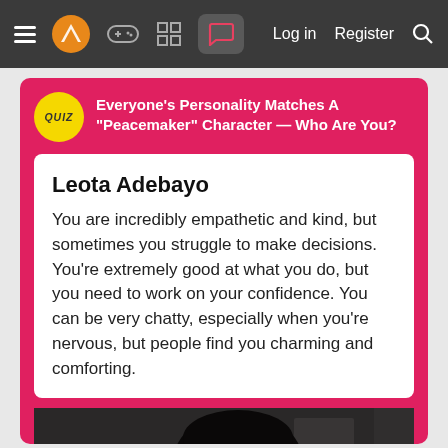Navigation bar with hamburger menu, logo, game controller icon, grid icon, chat icon (active), Log in, Register, Search
Everyone's Personality Matches A "Peacemaker" Character — Who Are You?
Leota Adebayo
You are incredibly empathetic and kind, but sometimes you struggle to make decisions. You're extremely good at what you do, but you need to work on your confidence. You can be very chatty, especially when you're nervous, but people find you charming and comforting.
[Figure (photo): Dark-skinned woman with curly/wavy hair looking at the camera, dimly lit background, screenshot from TV show Peacemaker]